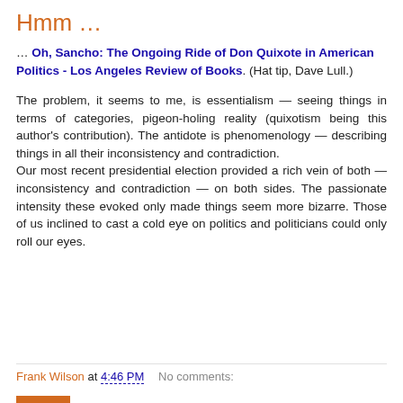Hmm …
… Oh, Sancho: The Ongoing Ride of Don Quixote in American Politics - Los Angeles Review of Books. (Hat tip, Dave Lull.)
The problem, it seems to me, is essentialism — seeing things in terms of categories, pigeon-holing reality (quixotism being this author's contribution). The antidote is phenomenology — describing things in all their inconsistency and contradiction. Our most recent presidential election provided a rich vein of both — inconsistency and contradiction — on both sides. The passionate intensity these evoked only made things seem more bizarre. Those of us inclined to cast a cold eye on politics and politicians could only roll our eyes.
Frank Wilson at 4:46 PM   No comments: